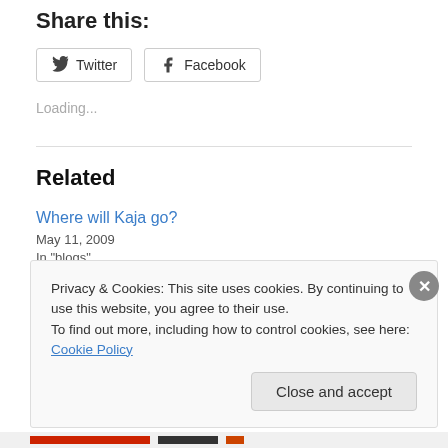Share this:
Twitter  Facebook
Loading...
Related
Where will Kaja go?
May 11, 2009
In "blogs"
Privacy & Cookies: This site uses cookies. By continuing to use this website, you agree to their use.
To find out more, including how to control cookies, see here: Cookie Policy